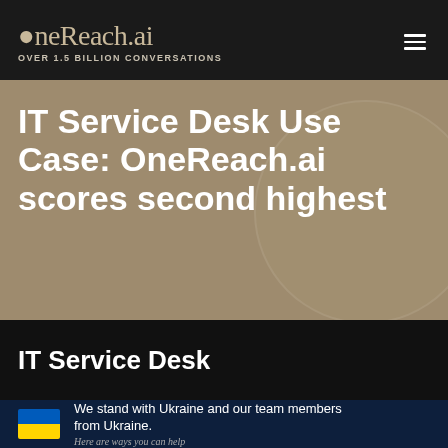OneReach.ai — OVER 1.5 BILLION CONVERSATIONS
IT Service Desk Use Case: OneReach.ai scores second highest
IT Service Desk
We stand with Ukraine and our team members from Ukraine. Here are ways you can help